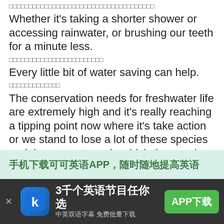□□□□□□□□□□□□□□□□□□□□□□□□□□□□□□□□□□□□□
Whether it's taking a shorter shower or accessing rainwater, or brushing our teeth for a minute less.
□□□□□□□□□□□□□□□□□□□□□□□□
Every little bit of water saving can help.
□□□□□□□□□□□□□
The conservation needs for freshwater life are extremely high and it's really reaching a tipping point now where it's take action or we stand to lose a lot of these species and the ecosystems in which they evolve.
□□□□□□□□□□□□□□□□□□□□□□□□□□□□□□□□□□□□□□□□□□□□□□□□□□□□□
□□□□□□□□□□□□□□□□□□□□□□ (red/underline)
[Figure (screenshot): Social share icons row: label text '□□□' followed by four square icons - Weibo (red border, wi-fi/wave icon), star (orange border), search magnifier (blue border), duo/group (dark blue border)]
[Figure (screenshot): Ad banner: light green background with bold Chinese text '手机下载可可英语APP，随时随地提高英语']
[Figure (screenshot): Bottom ad bar: dark background, close X on left, app icon with K logo, main text '3千个英语节目任你选', subtext '中英双语字幕 免费批量下载', green APP下载 button on right]